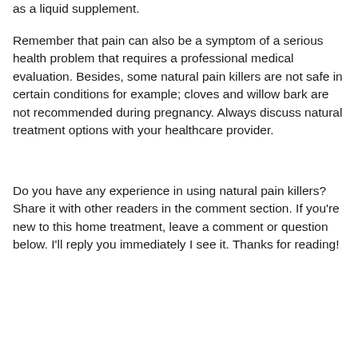as a liquid supplement.
Remember that pain can also be a symptom of a serious health problem that requires a professional medical evaluation. Besides, some natural pain killers are not safe in certain conditions for example; cloves and willow bark are not recommended during pregnancy. Always discuss natural treatment options with your healthcare provider.
Do you have any experience in using natural pain killers? Share it with other readers in the comment section. If you're new to this home treatment, leave a comment or question below. I'll reply you immediately I see it. Thanks for reading!